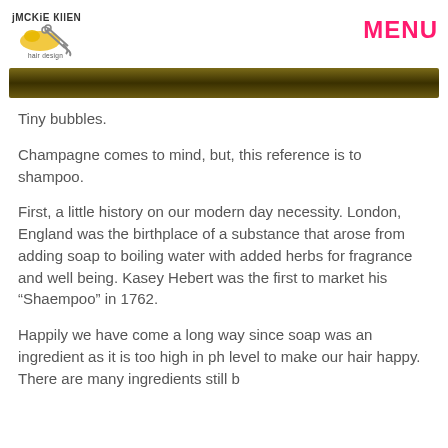JACKIE ALLEN Hair Design — MENU
[Figure (photo): Dark golden-brown decorative banner image]
Tiny bubbles.
Champagne comes to mind, but, this reference is to shampoo.
First, a little history on our modern day necessity. London, England was the birthplace of a substance that arose from adding soap to boiling water with added herbs for fragrance and well being. Kasey Hebert was the first to market his “Shaempoo” in 1762.
Happily we have come a long way since soap was an ingredient as it is too high in ph level to make our hair happy. There are many ingredients still being...